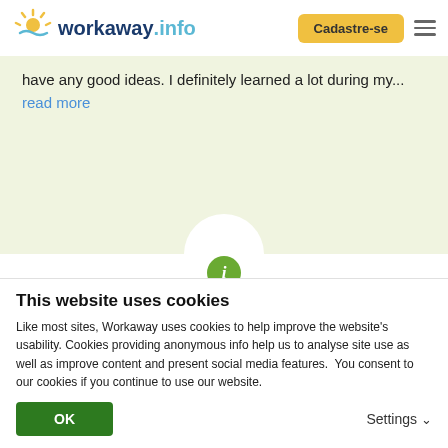[Figure (logo): Workaway.info logo with sun icon]
Cadastre-se
have any good ideas. I definitely learned a lot during my...
read more
[Figure (infographic): Green info circle icon with 5 gold stars rating and label (Excelente )]
(Excelente )
22/03/2019
This website uses cookies
Like most sites, Workaway uses cookies to help improve the website's usability. Cookies providing anonymous info help us to analyse site use as well as improve content and present social media features.  You consent to our cookies if you continue to use our website.
OK
Settings